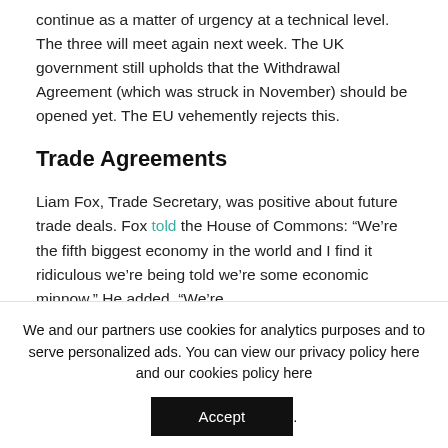continue as a matter of urgency at a technical level. The three will meet again next week. The UK government still upholds that the Withdrawal Agreement (which was struck in November) should be opened yet. The EU vehemently rejects this.
Trade Agreements
Liam Fox, Trade Secretary, was positive about future trade deals. Fox told the House of Commons: “We’re the fifth biggest economy in the world and I find it ridiculous we’re being told we’re some economic minnow.” He added, “We’re
We and our partners use cookies for analytics purposes and to serve personalized ads. You can view our privacy policy here and our cookies policy here
Accept